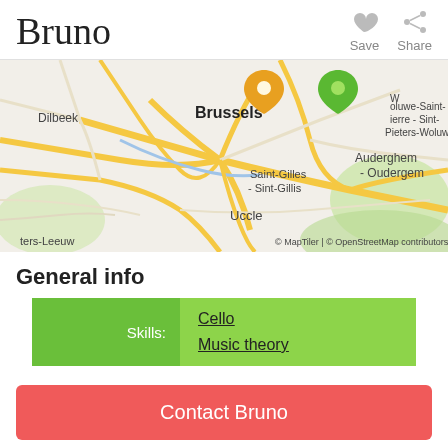Bruno
[Figure (map): Street map of Brussels area showing neighborhoods including Dilbeek, Brussels center, Saint-Gilles/Sint-Gillis, Uccle, Auderghem/Oudergem, Pieters-Woluwe, with two map pin markers (orange and green). Map copyright: © MapTiler | © OpenStreetMap contributors]
General info
| Skills: |  |
| --- | --- |
| Skills: | Cello
Music theory |
Contact Bruno